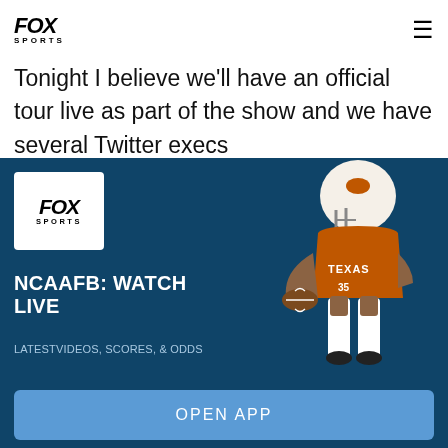[Figure (logo): FOX SPORTS logo in header]
Tonight I believe we'll have an official tour live as part of the show and we have several Twitter execs
[Figure (screenshot): FOX Sports app promotion overlay with dark blue background, football player in Texas uniform, FOX SPORTS logo box, close X button, headline NCAAFB: WATCH LIVE, subtitle LATESTVIDEOS, SCORES, & ODDS, and OPEN APP button]